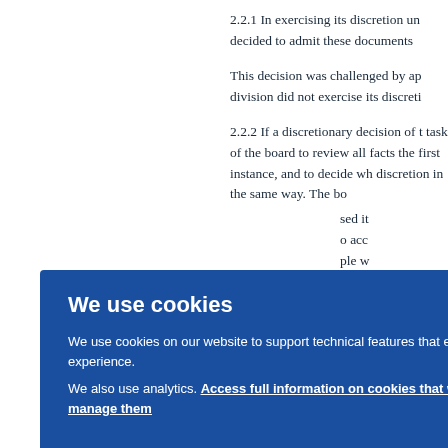2.2.1 In exercising its discretion un decided to admit these documents
This decision was challenged by ap division did not exercise its discreti
2.2.2 If a discretionary decision of t task of the board to review all facts the first instance, and to decide wh discretion in the same way. The bo sed it o acc ple w O 19
[Figure (screenshot): Cookie consent overlay banner with blue background. Title: 'We use cookies'. Body text: 'We use cookies on our website to support technical features that enhance your user experience. We also use analytics. Access full information on cookies that we use and how to manage them'. OK button on right side.]
cume ition divisio o the The